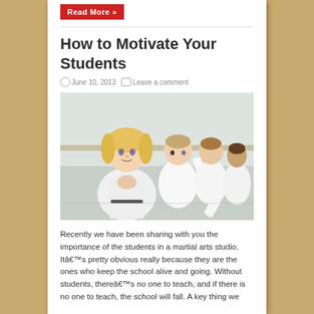Read More »
How to Motivate Your Students
June 10, 2013   Leave a comment
[Figure (photo): Children in white martial arts uniforms (gi) in a dojo. A young blonde girl in the foreground has her hands pressed together in a prayer/bow pose. Behind her, three older children are in fighting stances.]
Recently we have been sharing with you the importance of the students in a martial arts studio. Itâ€™s pretty obvious really because they are the ones who keep the school alive and going. Without students, thereâ€™s no one to teach, and if there is no one to teach, the school will fall. A key thing we